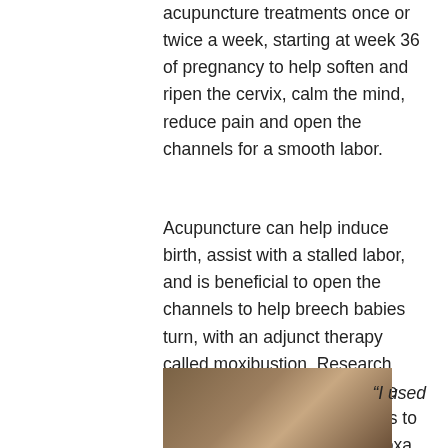acupuncture treatments once or twice a week, starting at week 36 of pregnancy to help soften and ripen the cervix, calm the mind, reduce pain and open the channels for a smooth labor.
Acupuncture can help induce birth, assist with a stalled labor, and is beneficial to open the channels to help breech babies turn, with an adjunct therapy called moxibustion. Research shows that weeks 34-35 is the optimal time for breech babies to turn with acupuncture and moxa.
[Figure (photo): Photo of a person receiving acupuncture treatment, partially visible at the bottom left of the page]
“I used